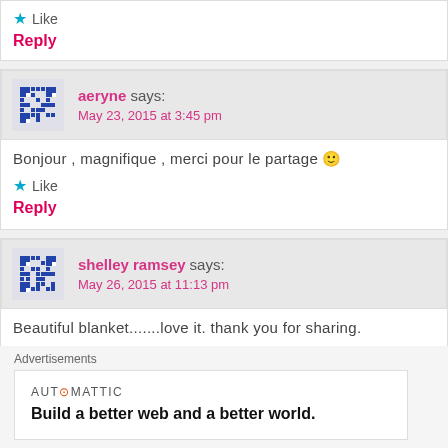Like
Reply
aeryne says: May 23, 2015 at 3:45 pm
Bonjour , magnifique , merci pour le partage 🙂
Like
Reply
shelley ramsey says: May 26, 2015 at 11:13 pm
Beautiful blanket.......love it. thank you for sharing.
Advertisements
AUTOMATTIC
Build a better web and a better world.